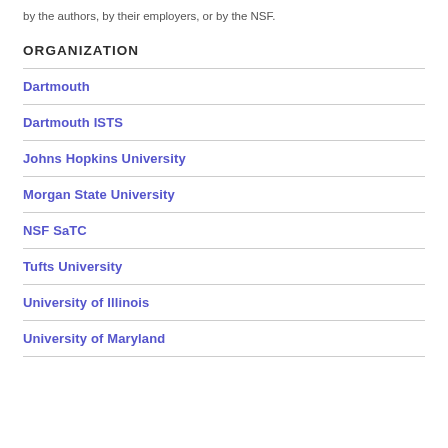by the authors, by their employers, or by the NSF.
ORGANIZATION
Dartmouth
Dartmouth ISTS
Johns Hopkins University
Morgan State University
NSF SaTC
Tufts University
University of Illinois
University of Maryland